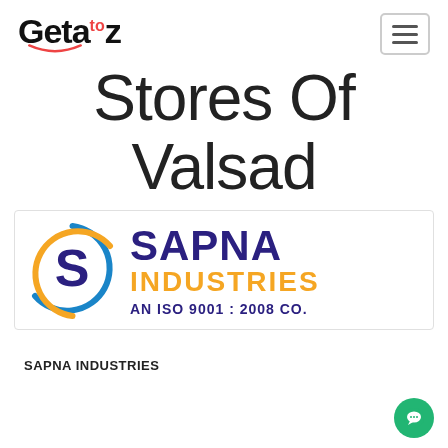Getaᵗᵒz (logo with smile) — hamburger menu button
Stores Of Valsad
[Figure (logo): Sapna Industries logo: circular S emblem in blue and orange, with text 'SAPNA INDUSTRIES AN ISO 9001 : 2008 CO.']
SAPNA INDUSTRIES